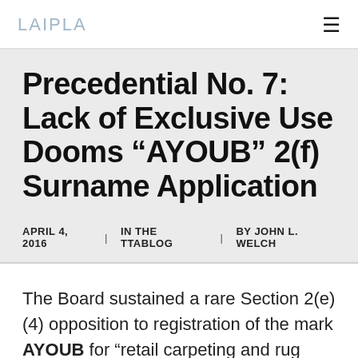LAIPLA
Precedential No. 7: Lack of Exclusive Use Dooms “AYOUB” 2(f) Surname Application
APRIL 4, 2016  |  IN THE TTABLOG  |  BY JOHN L. WELCH
The Board sustained a rare Section 2(e)(4) opposition to registration of the mark AYOUB for “retail carpeting and rug stores” and “carpet and